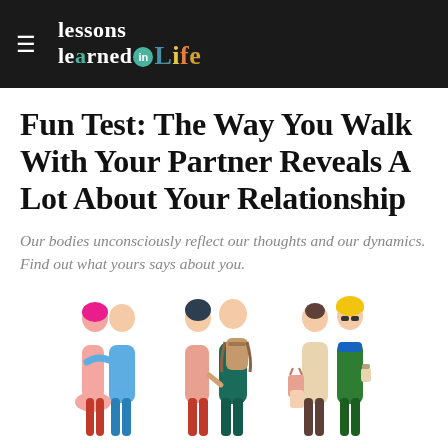Lessons Learned in Life
Fun Test: The Way You Walk With Your Partner Reveals A Lot About Your Relationship
Our bodies unconsciously reflect our thoughts and our dynamics. Find out what yours says about you.
[Figure (illustration): Illustration of three couples walking, shown from behind, in colorful flat design style. Left couple: man in blue and woman with pink hair walking with arms around each other. Middle couple: woman with dark hair and man with backpack holding hands. Right couple: man in beige coat carrying shopping bags and woman in green coat with yellow hat holding a drink cup.]